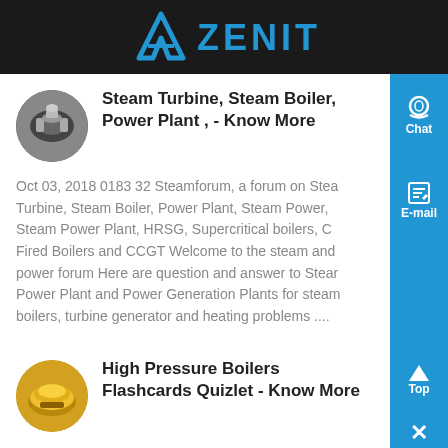ZENIT
Steam Turbine, Steam Boiler, Power Plant , - Know More
Oct 03, 2018 0183 32 Steamforum, a forum on Steam Turbine, Steam Boiler, Power Plant, Steam Power, Steam Power Plant, HRSG, Supercritical boilers, C Fired Boilers and CCGT Welcome to the steam and power forum Here are question and answer to Steam Power Plant and Power Generation Plants for steam boilers, turbine generator and heating problems ....
High Pressure Boilers Flashcards Quizlet - Know More
Testing coal for moisture, percent volatile matter, fi